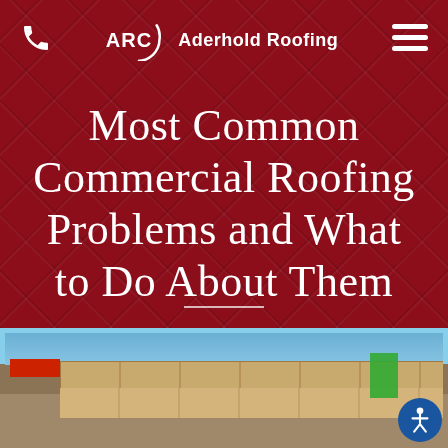Aderhold Roofing
Most Common Commercial Roofing Problems and What to Do About Them
[Figure (photo): Roofing construction photo showing plywood decking on a commercial roof with a red roof section visible to the left and a green sign on the right, blue sky in background]